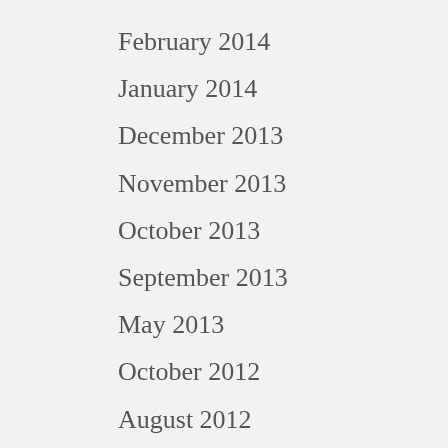February 2014
January 2014
December 2013
November 2013
October 2013
September 2013
May 2013
October 2012
August 2012
July 2012
May 2012
April 2012
March 2012